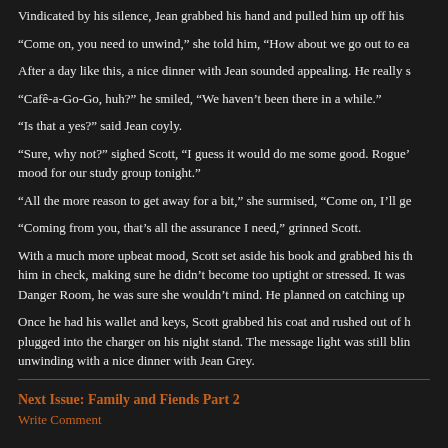Vindicated by his silence, Jean grabbed his hand and pulled him up off his
“Come on, you need to unwind,” she told him, “How about we go out to ea
After a day like this, a nice dinner with Jean sounded appealing. He really s
“Cafê-a-Go-Go, huh?” he smiled, “We haven’t been there in a while.”
“Is that a yes?” said Jean coyly.
“Sure, why not?” sighed Scott, “I guess it would do me some good. Rogue’ mood for our study group tonight.”
“All the more reason to get away for a bit,” she surmised, “Come on, I’ll ge
“Coming from you, that’s all the assurance I need,” grinned Scott.
With a much more upbeat mood, Scott set aside his book and grabbed his th him in check, making sure he didn’t become too uptight or stressed. It was Danger Room, he was sure she wouldn’t mind. He planned on catching up
Once he had his wallet and keys, Scott grabbed his coat and rushed out of h plugged into the charger on his night stand. The message light was still blin unwinding with a nice dinner with Jean Grey.
Next Issue: Family and Fiends Part 2
Write Comment